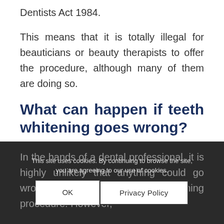Dentists Act 1984.
This means that it is totally illegal for beauticians or beauty therapists to offer the procedure, although many of them are doing so.
What can happen if teeth whitening goes wrong?
In the hands of a dental professional, it is highly unlikely that anything could go wrong during a tooth whitening procedure. However,
This site uses cookies. By continuing to browse the site, you are agreeing to our use of cookies.
OK
Privacy Policy